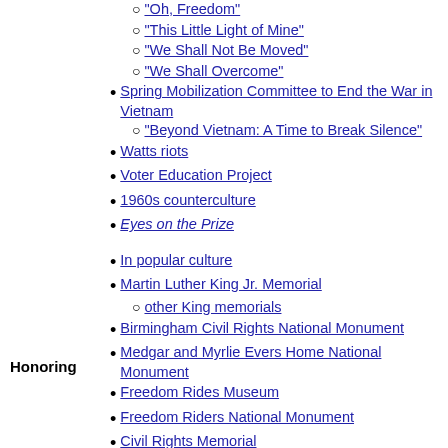"Oh, Freedom"
"This Little Light of Mine"
"We Shall Not Be Moved"
"We Shall Overcome"
Spring Mobilization Committee to End the War in Vietnam
"Beyond Vietnam: A Time to Break Silence"
Watts riots
Voter Education Project
1960s counterculture
Eyes on the Prize
In popular culture
Martin Luther King Jr. Memorial
other King memorials
Birmingham Civil Rights National Monument
Medgar and Myrlie Evers Home National Monument
Honoring
Freedom Rides Museum
Freedom Riders National Monument
Civil Rights Memorial
National Civil Rights Museum
National Voting Rights Museum